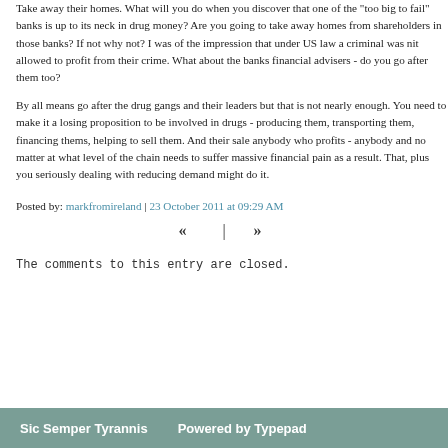Take away their homes. What will you do when you discover that one of the "too big to fail" banks is up to its neck in drug money? Are you going to take away homes from shareholders in those banks? If not why not? I was of the impression that under US law a criminal was nit allowed to profit from their crime. What about the banks financial advisers - do you go after them too?
By all means go after the drug gangs and their leaders but that is not nearly enough. You need to make it a losing proposition to be involved in drugs - producing them, transporting them, financing thems, helping to sell them. And their sale anybody who profits - anybody and no matter at what level of the chain needs to suffer massive financial pain as a result. That, plus you seriously dealing with reducing demand might do it.
Posted by: markfromireland | 23 October 2011 at 09:29 AM
« | »
The comments to this entry are closed.
Sic Semper Tyrannis    Powered by Typepad